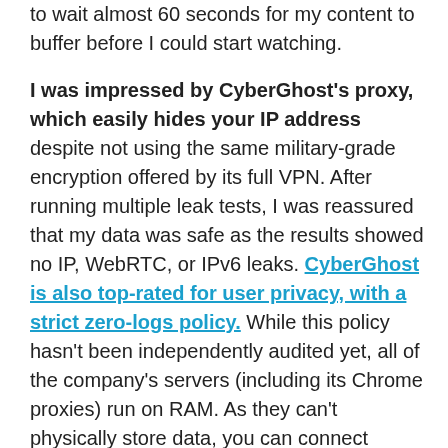to wait almost 60 seconds for my content to buffer before I could start watching.

I was impressed by CyberGhost's proxy, which easily hides your IP address despite not using the same military-grade encryption offered by its full VPN. After running multiple leak tests, I was reassured that my data was safe as the results showed no IP, WebRTC, or IPv6 leaks. CyberGhost is also top-rated for user privacy, with a strict zero-logs policy. While this policy hasn't been independently audited yet, all of the company's servers (including its Chrome proxies) run on RAM. As they can't physically store data, you can connect knowing your online activity is anonymous.